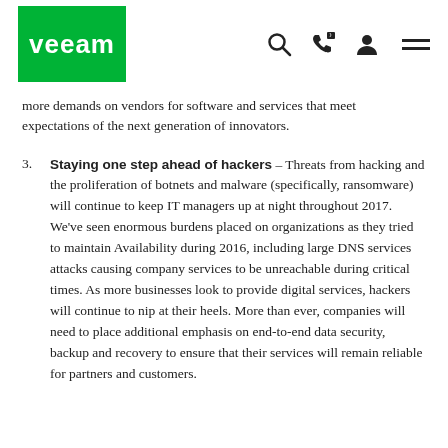Veeam logo with navigation icons (search, phone, user, menu)
more demands on vendors for software and services that meet expectations of the next generation of innovators.
3. Staying one step ahead of hackers – Threats from hacking and the proliferation of botnets and malware (specifically, ransomware) will continue to keep IT managers up at night throughout 2017. We've seen enormous burdens placed on organizations as they tried to maintain Availability during 2016, including large DNS services attacks causing company services to be unreachable during critical times. As more businesses look to provide digital services, hackers will continue to nip at their heels. More than ever, companies will need to place additional emphasis on end-to-end data security, backup and recovery to ensure that their services will remain reliable for partners and customers.